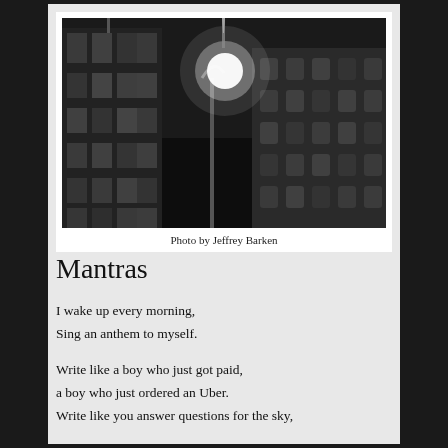[Figure (photo): Black and white nighttime photo looking up at tall urban buildings, with a bright street lamp flaring in the center against a dark sky.]
Photo by Jeffrey Barken
Mantras
I wake up every morning,
Sing an anthem to myself.
Write like a boy who just got paid,
a boy who just ordered an Uber.
Write like you answer questions for the sky,